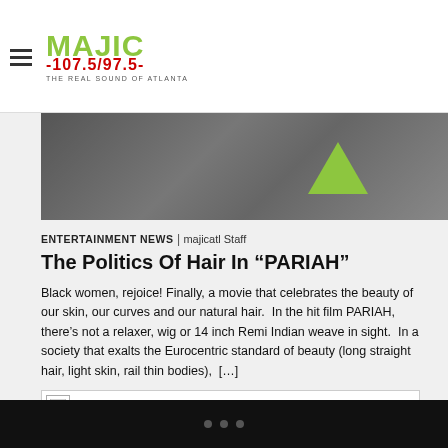MAJIC -107.5/97.5- THE REAL SOUND OF ATLANTA
[Figure (photo): Dark greyscale hero banner image with a green/yellow upward-pointing triangle shape on the right side, partially visible; appears to be a movie still or promotional image]
ENTERTAINMENT NEWS | majicatl Staff
The Politics Of Hair In “PARIAH”
Black women, rejoice! Finally, a movie that celebrates the beauty of our skin, our curves and our natural hair.  In the hit film PARIAH, there’s not a relaxer, wig or 14 inch Remi Indian weave in sight.  In a society that exalts the Eurocentric standard of beauty (long straight hair, light skin, rail thin bodies),  […]
[Figure (other): Broken/missing image placeholder icon]
• • •